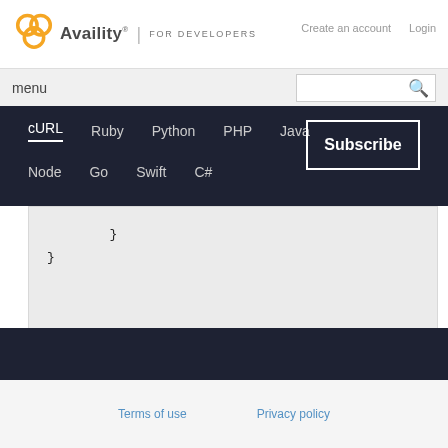Availity | FOR DEVELOPERS
Create an account   Login
menu
cURL   Ruby   Python   PHP   Java   Node   Go   Swift   C#
Subscribe
}
}
Terms of use   Privacy policy